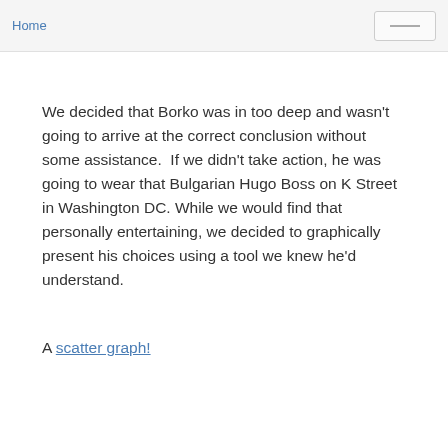Home
We decided that Borko was in too deep and wasn't going to arrive at the correct conclusion without some assistance.  If we didn't take action, he was going to wear that Bulgarian Hugo Boss on K Street in Washington DC. While we would find that personally entertaining, we decided to graphically present his choices using a tool we knew he'd understand.
A scatter graph!